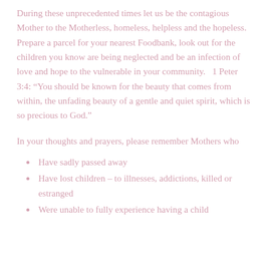During these unprecedented times let us be the contagious Mother to the Motherless, homeless, helpless and the hopeless. Prepare a parcel for your nearest Foodbank, look out for the children you know are being neglected and be an infection of love and hope to the vulnerable in your community.  1 Peter 3:4: “You should be known for the beauty that comes from within, the unfading beauty of a gentle and quiet spirit, which is so precious to God.”
In your thoughts and prayers, please remember Mothers who
Have sadly passed away
Have lost children – to illnesses, addictions, killed or estranged
Were unable to fully experience having a child